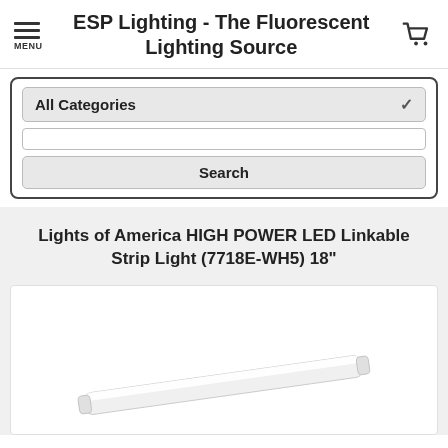ESP Lighting - The Fluorescent Lighting Source
All Categories
Search
Lights of America HIGH POWER LED Linkable Strip Light (7718E-WH5) 18"
[Figure (photo): Product image showing a white LED linkable strip light bar at an angle against a white background]